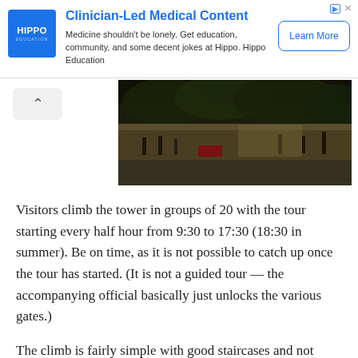[Figure (other): Advertisement banner for Hippo Education with blue square logo, headline 'Clinician-Led Medical Content', description text, and 'Learn More' button. Small ad icon and close button top right.]
[Figure (photo): Outdoor scene with dark trees and people walking in what appears to be a plaza or street, dimly lit.]
Visitors climb the tower in groups of 20 with the tour starting every half hour from 9:30 to 17:30 (18:30 in summer). Be on time, as it is not possible to catch up once the tour has started. (It is not a guided tour — the accompanying official basically just unlocks the various gates.)
The climb is fairly simple with good staircases and not particularly narrow passages. The three main stops are the top of the Baroque cupola of the Puerta del Perdon, the first set of bells, and the upper-level terrace with the